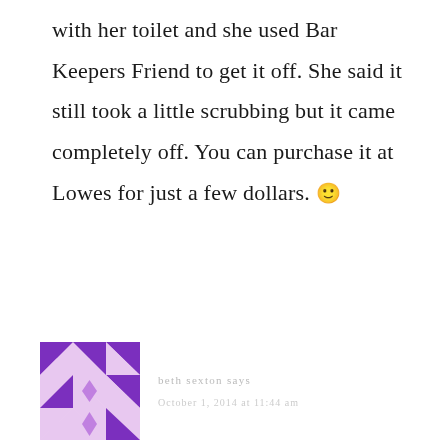with her toilet and she used Bar Keepers Friend to get it off. She said it still took a little scrubbing but it came completely off. You can purchase it at Lowes for just a few dollars. 🙂
[Figure (illustration): A quilt-pattern avatar icon in purple and light lavender colors, arranged in a square grid of geometric triangles and diamond shapes.]
beth sexton says
October 1, 2014 at 11:44 am